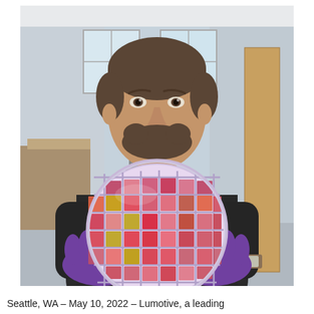[Figure (photo): A man smiling and holding a large semiconductor wafer (circular, with colorful pink, red, gold, and purple grid-patterned chips) with purple nitrile gloves. He is wearing a dark button-up shirt and a watch. The background shows an office/lab environment with desks and windows. The photo is taken in a professional setting.]
Seattle, WA – May 10, 2022 – Lumotive, a leading